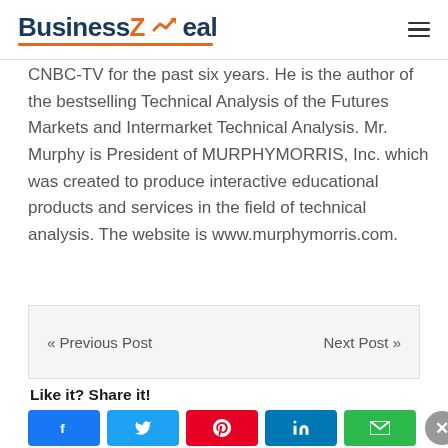BusinessZeal
CNBC-TV for the past six years. He is the author of the bestselling Technical Analysis of the Futures Markets and Intermarket Technical Analysis. Mr. Murphy is President of MURPHYMORRIS, Inc. which was created to produce interactive educational products and services in the field of technical analysis. The website is www.murphymorris.com.
« Previous Post    Next Post »
Like it? Share it!
[Figure (other): Social share buttons: Facebook, Twitter, Pinterest, LinkedIn, Email]